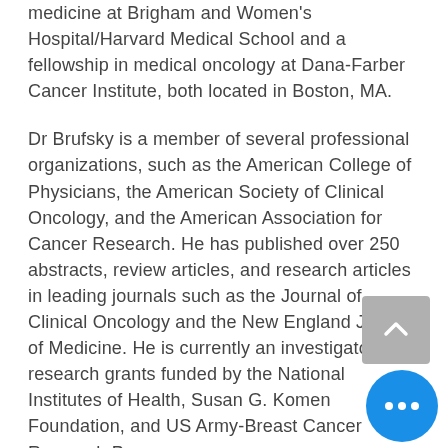medicine at Brigham and Women's Hospital/Harvard Medical School and a fellowship in medical oncology at Dana-Farber Cancer Institute, both located in Boston, MA.
Dr Brufsky is a member of several professional organizations, such as the American College of Physicians, the American Society of Clinical Oncology, and the American Association for Cancer Research. He has published over 250 abstracts, review articles, and research articles in leading journals such as the Journal of Clinical Oncology and the New England Journal of Medicine. He is currently an investigator on research grants funded by the National Institutes of Health, Susan G. Komen Foundation, and US Army-Breast Cancer Research Program.
Connect:
On Twitter at @BreastOncDoc